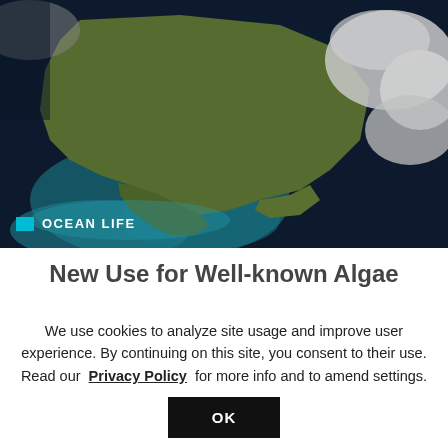[Figure (photo): Satellite aerial view of the British Isles / Ireland from space, showing green landmasses against dark ocean with teal algae blooms and white cloud formations.]
OCEAN LIFE
New Use for Well-known Algae
[Figure (photo): Partial view of a second article image with green and light blue abstract swirling design.]
We use cookies to analyze site usage and improve user experience. By continuing on this site, you consent to their use. Read our Privacy Policy for more info and to amend settings.
OK